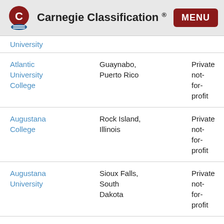Carnegie Classification ® MENU
| Institution | Location | Type |
| --- | --- | --- |
| University |  |  |
| Atlantic University College | Guaynabo, Puerto Rico | Private not-for-profit |
| Augustana College | Rock Island, Illinois | Private not-for-profit |
| Augustana University | Sioux Falls, South Dakota | Private not-for-profit |
| Austin College | Sherman, Texas | Private not-for-profit |
| Austin Peay | Clarksville, |  |